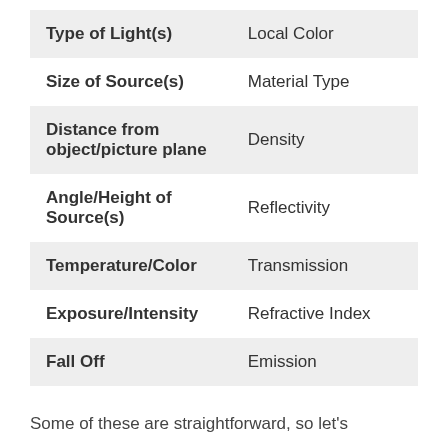| Light Property | Material Property |
| --- | --- |
| Type of Light(s) | Local Color |
| Size of Source(s) | Material Type |
| Distance from object/picture plane | Density |
| Angle/Height of Source(s) | Reflectivity |
| Temperature/Color | Transmission |
| Exposure/Intensity | Refractive Index |
| Fall Off | Emission |
Some of these are straightforward, so let's